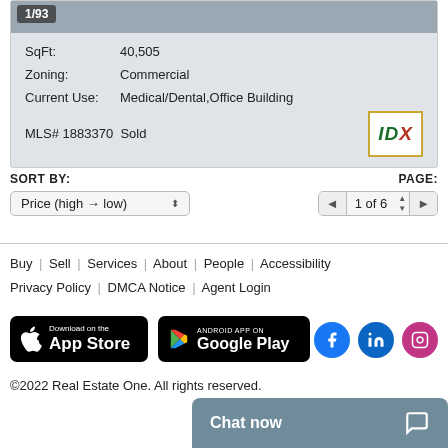[Figure (screenshot): Listing card showing partial property image with 1/93 counter, and property details including SqFt, Zoning, Current Use, MLS number and IDX logo]
SqFt: 40,505
Zoning: Commercial
Current Use: Medical/Dental,Office Building
MLS# 1883370  Sold
SORT BY:
Price (high → low)
PAGE:
1 of 6
Buy | Sell | Services | About | People | Accessibility
Privacy Policy | DMCA Notice | Agent Login
[Figure (logo): Download on the App Store badge]
[Figure (logo): Android App on Google Play badge]
[Figure (logo): Social media icons: Facebook, LinkedIn, Instagram]
©2022 Real Estate One. All rights reserved.
Chat now